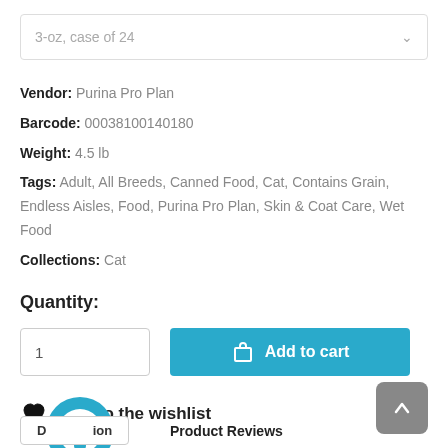3-oz, case of 24
Vendor: Purina Pro Plan
Barcode: 00038100140180
Weight: 4.5 lb
Tags: Adult, All Breeds, Canned Food, Cat, Contains Grain, Endless Aisles, Food, Purina Pro Plan, Skin & Coat Care, Wet Food
Collections: Cat
Quantity:
1
Add to cart
Add to the wishlist
Description
Product Reviews